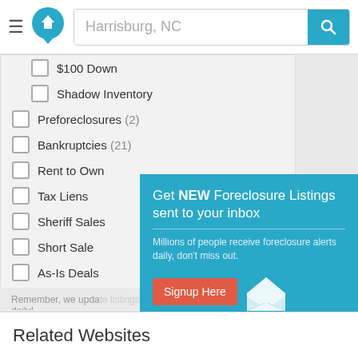[Figure (screenshot): Website header with hamburger menu, home logo, search bar with 'Harrisburg, NC' placeholder, and blue search button]
$100 Down
Shadow Inventory
Preforeclosures (2)
Bankruptcies (21)
Rent to Own
Tax Liens
Sheriff Sales
Short Sale
As-Is Deals
Fixer Uppers
City Owned
Remember, we upda... daily!
[Figure (screenshot): Popup overlay with teal background: 'Get NEW Foreclosure Listings sent to your inbox' heading, body text 'Millions of people receive foreclosure alerts daily, don't miss out.', red 'Signup Here' button, envelope icon, and 'No Thanks | Remind Me Later' links]
Related Websites